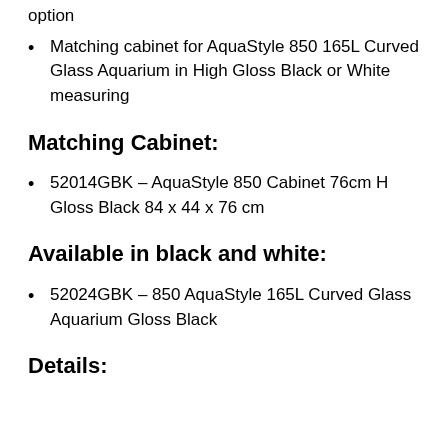Matching cabinet for AquaStyle 850 165L Curved Glass Aquarium in High Gloss Black or White measuring
Matching Cabinet:
52014GBK – AquaStyle 850 Cabinet 76cm H Gloss Black 84 x 44 x 76 cm
Available in black and white:
52024GBK – 850 AquaStyle 165L Curved Glass Aquarium Gloss Black
Details: